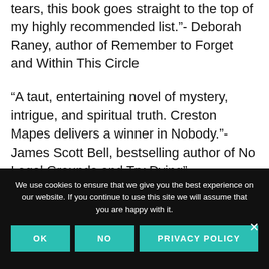tears, this book goes straight to the top of my highly recommended list.”- Deborah Raney, author of Remember to Forget and Within This Circle
“A taut, entertaining novel of mystery, intrigue, and spiritual truth. Creston Mapes delivers a winner in Nobody.”- James Scott Bell, bestselling author of No Legal Grounds and Try Dying”
We use cookies to ensure that we give you the best experience on our website. If you continue to use this site we will assume that you are happy with it.